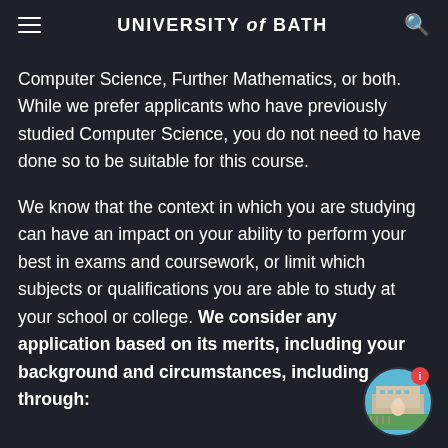UNIVERSITY of BATH
Computer Science, Further Mathematics, or both. While we prefer applicants who have previously studied Computer Science, you do not need to have done so to be suitable for this course.
We know that the context in which you are studying can have an impact on your ability to perform your best in exams and coursework, or limit which subjects or qualifications you are able to study at your school or college. We consider any application based on its merits, including your background and circumstances, including through:
[Figure (photo): Circular avatar photo of a person standing in front of a building, with a red notification badge showing 'i' icon]